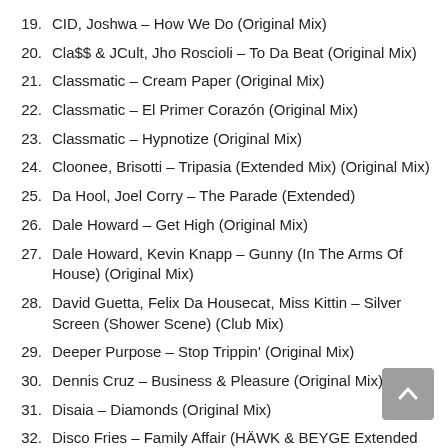19. CID, Joshwa – How We Do (Original Mix)
20. Cla$$ & JCult, Jho Roscioli – To Da Beat (Original Mix)
21. Classmatic – Cream Paper (Original Mix)
22. Classmatic – El Primer Corazón (Original Mix)
23. Classmatic – Hypnotize (Original Mix)
24. Cloonee, Brisotti – Tripasia (Extended Mix) (Original Mix)
25. Da Hool, Joel Corry – The Parade (Extended)
26. Dale Howard – Get High (Original Mix)
27. Dale Howard, Kevin Knapp – Gunny (In The Arms Of House) (Original Mix)
28. David Guetta, Felix Da Housecat, Miss Kittin – Silver Screen (Shower Scene) (Club Mix)
29. Deeper Purpose – Stop Trippin' (Original Mix)
30. Dennis Cruz – Business & Pleasure (Original Mix)
31. Disaia – Diamonds (Original Mix)
32. Disco Fries – Family Affair (HÄWK & BEYGE Extended Remix)